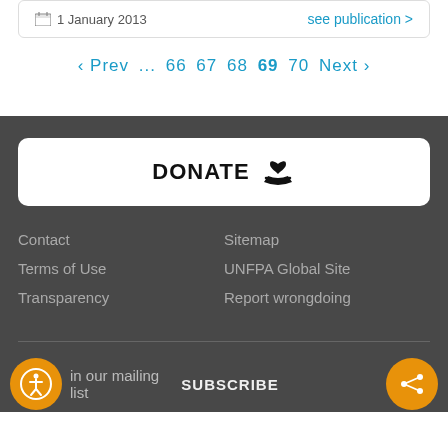1 January 2013
see publication >
‹ Prev ... 66 67 68 69 70 Next ›
DONATE
Contact
Terms of Use
Transparency
Sitemap
UNFPA Global Site
Report wrongdoing
in our mailing list   SUBSCRIBE